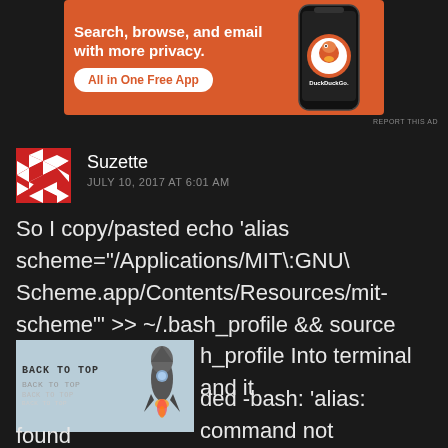[Figure (screenshot): DuckDuckGo advertisement banner with orange background. Text reads 'Search, browse, and email with more privacy. All in One Free App' with DuckDuckGo logo and phone mockup.]
REPORT THIS AD
[Figure (photo): Red and white diamond pattern avatar icon for user Suzette]
Suzette
JULY 10, 2017 AT 6:01 AM
So I copy/pasted echo 'alias scheme="/Applications/MIT\:GNU\ Scheme.app/Contents/Resources/mit-scheme"' >> ~/.bash_profile && source ~/.bash_profile Into terminal and it responded -bash: 'alias: command not found
[Figure (screenshot): Back to Top button with rocket ship graphic on light blue background with repeated 'BACK TO TOP' text]